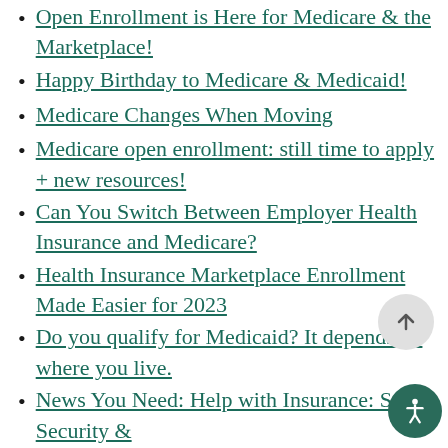Open Enrollment is Here for Medicare & the Marketplace!
Happy Birthday to Medicare & Medicaid!
Medicare Changes When Moving
Medicare open enrollment: still time to apply + new resources!
Can You Switch Between Employer Health Insurance and Medicare?
Health Insurance Marketplace Enrollment Made Easier for 2023
Do you qualify for Medicaid? It depends on where you live.
News You Need: Help with Insurance: Social Security &